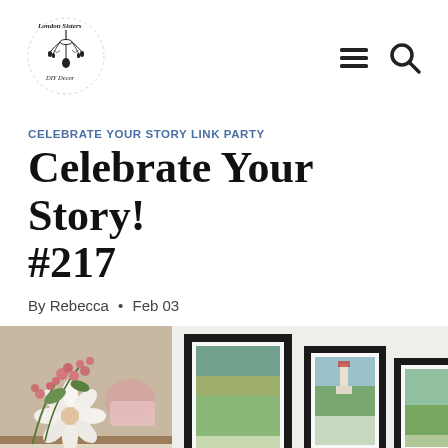[Figure (logo): London Sisters DIY Decor logo with chandelier illustration]
[Figure (illustration): Hamburger menu icon and search/magnifying glass icon for navigation]
CELEBRATE YOUR STORY LINK PARTY
Celebrate Your Story! #217
By Rebecca • Feb 03
[Figure (photo): Left photo: pink and white flowers with a teacup in the background on a table setting]
[Figure (photo): Right photo: three framed pictures on a white wall showing landscape/lighthouse scenes]